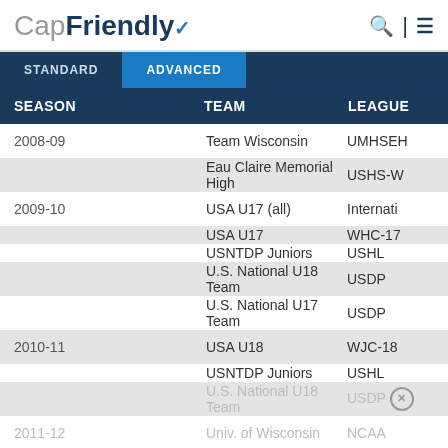CapFriendly
| SEASON | TEAM | LEAGUE |
| --- | --- | --- |
| 2008-09 | Team Wisconsin | UMHSEH |
|  | Eau Claire Memorial High | USHS-W |
| 2009-10 | USA U17 (all) | Internati |
|  | USA U17 | WHC-17 |
|  | USNTDP Juniors | USHL |
|  | U.S. National U18 Team | USDP |
|  | U.S. National U17 Team | USDP |
| 2010-11 | USA U18 | WJC-18 |
|  | USNTDP Juniors | USHL |
|  | U.S. National U18 Team | USDP |
| 2011-12 | Univ. of Wisconsin | NCAA |